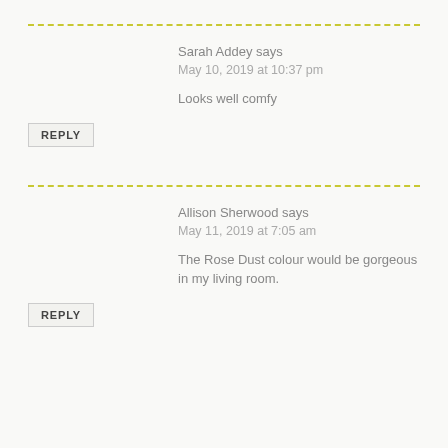Sarah Addey says
May 10, 2019 at 10:37 pm
Looks well comfy
REPLY
Allison Sherwood says
May 11, 2019 at 7:05 am
The Rose Dust colour would be gorgeous in my living room.
REPLY